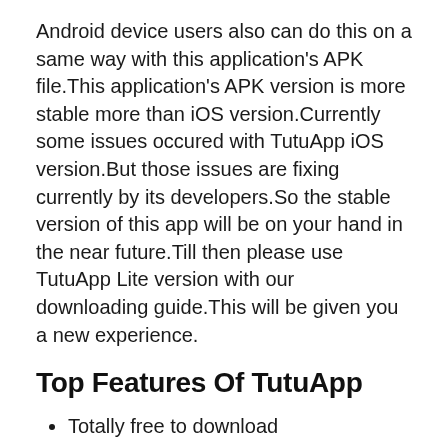Android device users also can do this on a same way with this application's APK file.This application's APK version is more stable more than iOS version.Currently some issues occured with TutuApp iOS version.But those issues are fixing currently by its developers.So the stable version of this app will be on your hand in the near future.Till then please use TutuApp Lite version with our downloading guide.This will be given you a new experience.
Top Features Of TutuApp
Totally free to download
Regularly updating with newly added security features and bug fixings
Express a view of PRO version